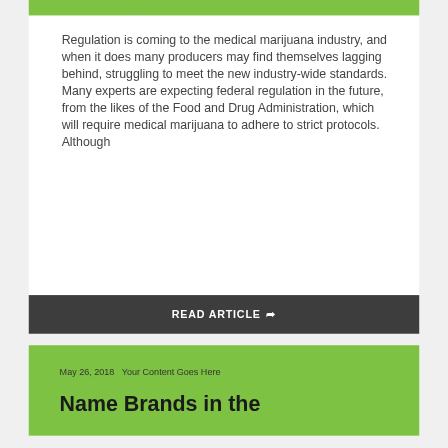For Cannabis
Regulation is coming to the medical marijuana industry, and when it does many producers may find themselves lagging behind, struggling to meet the new industry-wide standards. Many experts are expecting federal regulation in the future, from the likes of the Food and Drug Administration, which will require medical marijuana to adhere to strict protocols. Although
READ ARTICLE
May 26, 2018   Your Content Goes Here
Name Brands in the